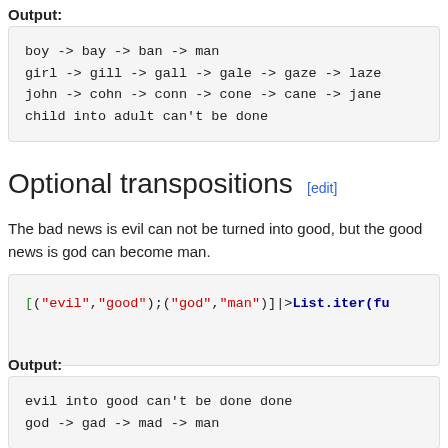Output:
boy -> bay -> ban -> man
girl -> gill -> gall -> gale -> gaze -> laze
john -> cohn -> conn -> cone -> cane -> jane
child into adult can't be done
Optional transpositions [edit]
The bad news is evil can not be turned into good, but the good news is god can become man.
[("evil","good");("god","man")]|>List.iter(fu
Output:
evil into good can't be done done
god -> gad -> mad -> man